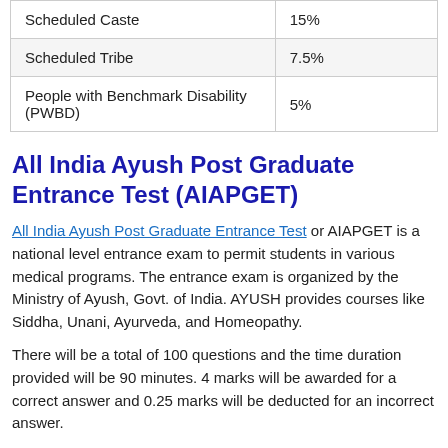| Scheduled Caste | 15% |
| Scheduled Tribe | 7.5% |
| People with Benchmark Disability (PWBD) | 5% |
All India Ayush Post Graduate Entrance Test (AIAPGET)
All India Ayush Post Graduate Entrance Test or AIAPGET is a national level entrance exam to permit students in various medical programs. The entrance exam is organized by the Ministry of Ayush, Govt. of India. AYUSH provides courses like Siddha, Unani, Ayurveda, and Homeopathy.
There will be a total of 100 questions and the time duration provided will be 90 minutes. 4 marks will be awarded for a correct answer and 0.25 marks will be deducted for an incorrect answer.